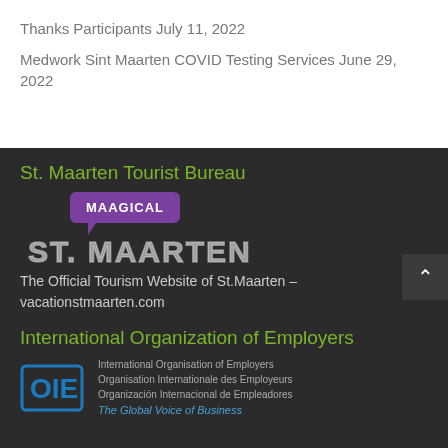Thanks Participants July 11, 2022
Medwork Sint Maarten COVID Testing Services June 29, 2022
St. Maarten Tourist Bureau
[Figure (logo): MAAGICAL St. Maarten tourism logo — purple speech bubble with MAAGICAL text above large white outlined ST. MAARTEN lettering]
The Official Tourism Website of St.Maarten – vacationstmaarten.com
International Organization of Employers
[Figure (logo): IOE logo — blue OIE letters with International Organisation of Employers in multiple languages and tagline The Global Voice of Business in italic blue]